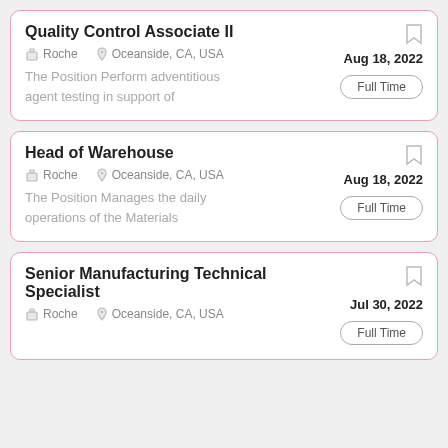Quality Control Associate II | Roche | Oceanside, CA, USA | Aug 18, 2022 | Full Time | The Position Perform adventitious agent testing in support of
Head of Warehouse | Roche | Oceanside, CA, USA | Aug 18, 2022 | Full Time | The Position Manages the daily operations of the Materials
Senior Manufacturing Technical Specialist | Roche | Oceanside, CA, USA | Jul 30, 2022 | Full Time